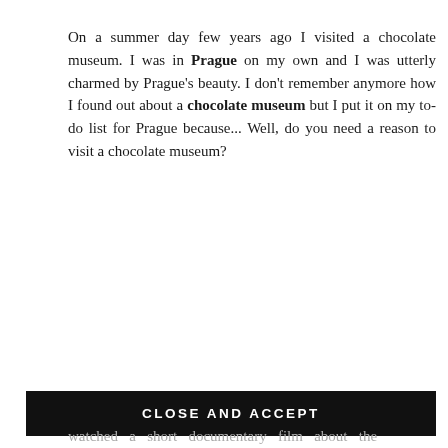On a summer day few years ago I visited a chocolate museum. I was in Prague on my own and I was utterly charmed by Prague's beauty. I don't remember anymore how I found out about a chocolate museum but I put it on my to-do list for Prague because... Well, do you need a reason to visit a chocolate museum?
Muzeum čokolády, Choco-Story Praha is located in Celetna street which is near the magnificent Old Town
Privacy & Cookies: This site uses cookies. By continuing to use this website, you agree to their use.
To find out more, including how to control cookies, see here: Cookie Policy
CLOSE AND ACCEPT
watched a short documentary film about the